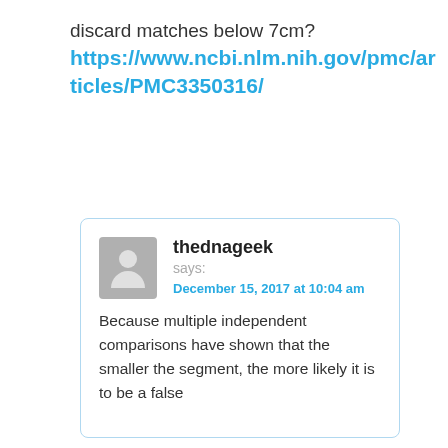discard matches below 7cm?
https://www.ncbi.nlm.nih.gov/pmc/articles/PMC3350316/
thednageek says:
December 15, 2017 at 10:04 am

Because multiple independent comparisons have shown that the smaller the segment, the more likely it is to be a false